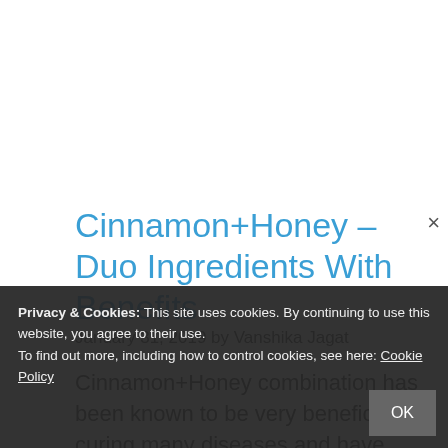Cinnamon+Honey – Duo Ingredients With Benefits
January 31, 2019 by Vanshika Jagat
Cinnamon+Honey combination has been known to be very beneficial in curing many diseases and have medicinal properties. You can use this ingredients in a thick paste form to apply on face or skin. Hope you like this information post as you did like my previous
Privacy & Cookies: This site uses cookies. By continuing to use this website, you agree to their use. To find out more, including how to control cookies, see here: Cookie Policy